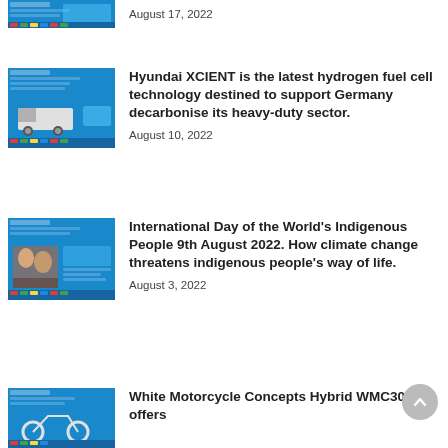[Figure (screenshot): Thumbnail image of first article (partially visible at top)]
August 17, 2022
[Figure (screenshot): Thumbnail image for Hyundai XCIENT hydrogen fuel cell article showing a truck]
Hyundai XCIENT is the latest hydrogen fuel cell technology destined to support Germany decarbonise its heavy-duty sector.
August 10, 2022
[Figure (screenshot): Thumbnail image for International Day of the World's Indigenous People article]
International Day of the World's Indigenous People 9th August 2022. How climate change threatens indigenous people's way of life.
August 3, 2022
[Figure (screenshot): Thumbnail image for White Motorcycle Concepts Hybrid WMC300FR article]
White Motorcycle Concepts Hybrid WMC300FR offers